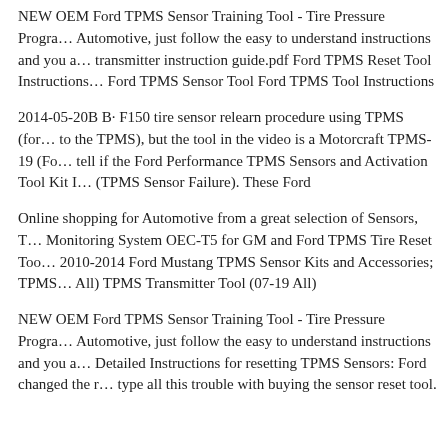NEW OEM Ford TPMS Sensor Training Tool - Tire Pressure Progra... Automotive, just follow the easy to understand instructions and you a... transmitter instruction guide.pdf Ford TPMS Reset Tool Instructions... Ford TPMS Sensor Tool Ford TPMS Tool Instructions
2014-05-20B B· F150 tire sensor relearn procedure using TPMS (for... to the TPMS), but the tool in the video is a Motorcraft TPMS-19 (Fo... tell if the Ford Performance TPMS Sensors and Activation Tool Kit I... (TPMS Sensor Failure). These Ford
Online shopping for Automotive from a great selection of Sensors, T... Monitoring System OEC-T5 for GM and Ford TPMS Tire Reset Too... 2010-2014 Ford Mustang TPMS Sensor Kits and Accessories; TPMS... All) TPMS Transmitter Tool (07-19 All)
NEW OEM Ford TPMS Sensor Training Tool - Tire Pressure Progra... Automotive, just follow the easy to understand instructions and you a... Detailed Instructions for resetting TPMS Sensors: Ford changed the r... type all this trouble with buying the sensor reset tool.